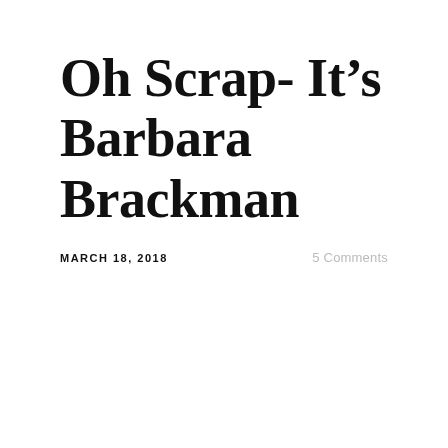Oh Scrap- It’s Barbara Brackman
MARCH 18, 2018
5 Comments